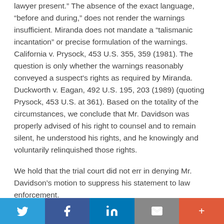lawyer present.” The absence of the exact language, “before and during,” does not render the warnings insufficient. Miranda does not mandate a “talismanic incantation” or precise formulation of the warnings. California v. Prysock, 453 U.S. 355, 359 (1981). The question is only whether the warnings reasonably conveyed a suspect's rights as required by Miranda. Duckworth v. Eagan, 492 U.S. 195, 203 (1989) (quoting Prysock, 453 U.S. at 361). Based on the totality of the circumstances, we conclude that Mr. Davidson was properly advised of his right to counsel and to remain silent, he understood his rights, and he knowingly and voluntarily relinquished those rights.
We hold that the trial court did not err in denying Mr. Davidson’s motion to suppress his statement to law enforcement.
[Figure (other): Social sharing bar with Twitter, Facebook, LinkedIn, Email, and More (+) buttons]